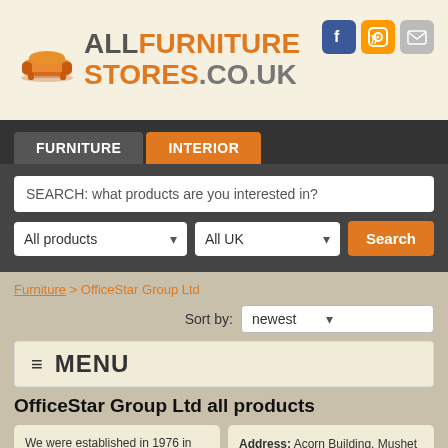[Figure (logo): AllFurnitureStores.co.uk logo with orange sofa icon and social media icons (Facebook, RSS, email)]
FURNITURE | INTERIOR (navigation tabs)
SEARCH: what products are you interested in?
All products | All UK | Search
Furniture > OfficeStar Group Ltd
Sort by: newest
≡ MENU
OfficeStar Group Ltd all products
We were established in 1976 in Lydney in the Forest of Dean, which means as a company we have many years of experience and knowledge within the office products industry, specialising in...
Address: Acorn Building, Mushet Park, Coleford, Glos, GL16 8RE
Phone: (01594) 810081
Mobile: (01594)